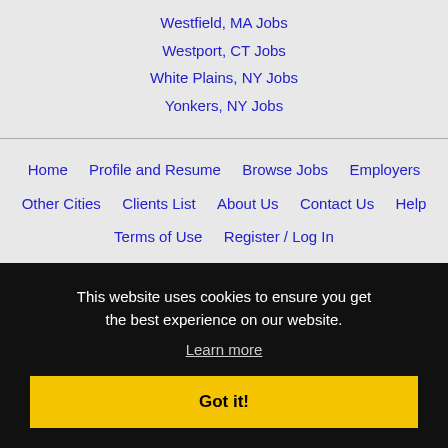Westfield, MA Jobs
Westport, CT Jobs
White Plains, NY Jobs
Yonkers, NY Jobs
Home | Profile and Resume | Browse Jobs | Employers | Other Cities | Clients List | About Us | Contact Us | Help | Terms of Use | Register / Log In
This website uses cookies to ensure you get the best experience on our website.
Learn more
Got it!